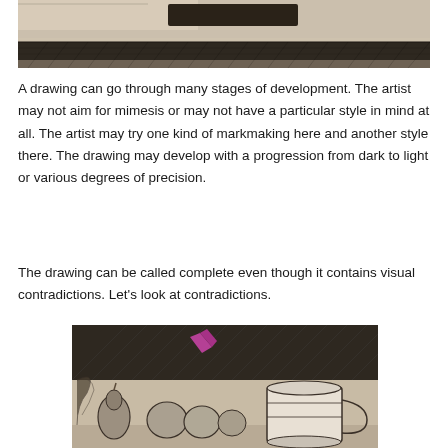[Figure (illustration): Pencil sketch drawing of a landscape or architectural scene with dark hatching at the bottom, on a beige/tan toned paper background.]
A drawing can go through many stages of development. The artist may not aim for mimesis or may not have a particular style in mind at all. The artist may try one kind of markmaking here and another style there. The drawing may develop with a progression from dark to light or various degrees of precision.
The drawing can be called complete even though it contains visual contradictions. Let's look at contradictions.
[Figure (illustration): Pencil sketch still life drawing on beige toned paper showing fruit (pears, apples), a cylindrical mug or container, and background hatching. Magenta/pink annotation marks are visible on the sketch.]